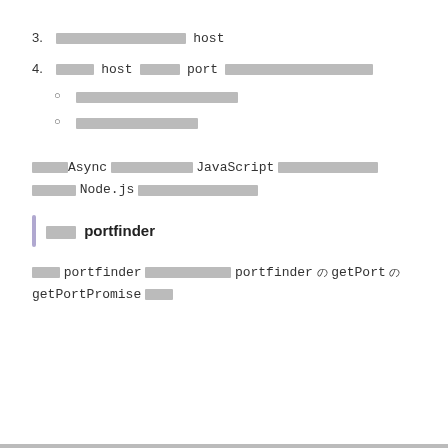3. [CJK text] host
4. [CJK text] host [CJK text] port [CJK text]
• [CJK text]
• [CJK text]
[CJK text] Async [CJK text] JavaScript [CJK text] Node.js [CJK text]
[CJK text] portfinder
[CJK text] portfinder [CJK text] portfinder の getPort の getPortPromise [CJK text]